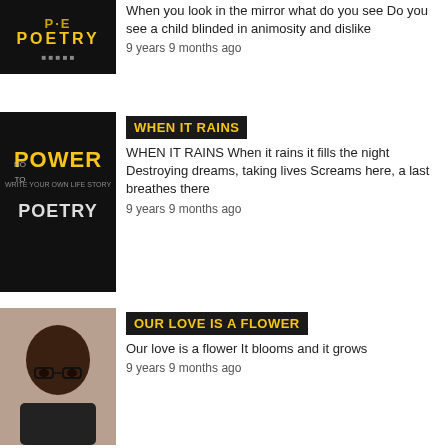[Figure (photo): Black background poetry logo thumbnail - partially visible at top]
When you look in the mirror what do you see Do you see a child blinded in animosity and dislike
9 years 9 months ago
[Figure (photo): Black background with POWER WRITE YOUR OWN LIFE STORY POETRY text logo]
WHEN IT RAINS
WHEN IT RAINS When it rains it fills the night Destroying dreams, taking lives Screams here, a last breathes there
9 years 9 months ago
[Figure (photo): Portrait photo of a man with glasses wearing dark clothing]
OUR LOVE IS A FLOWER
Our love is a flower It blooms and it grows
9 years 9 months ago